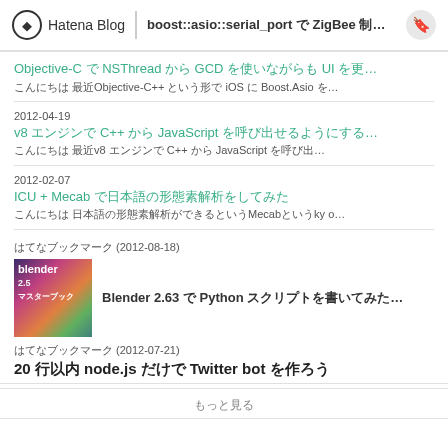Hatena Blog  boost::asio::serial_port で ZigBee 制御…
Objective-C で NSThread から GCD を使いながらも UI を更…
こんにちは 最近Objective-C++ という形で iOS に Boost.Asio を…
2012-04-19
v8 エンジンで C++ から JavaScript を呼び出せるようにする…
こんにちは 最近v8 エンジンで C++ から JavaScript を呼び…
2012-02-07
ICU + Mecab で日本語の形態素解析をしてみた
こんにちは 日本語の形態素解析ができるというMecabというky o…
はてなブックマーク (2012-08-18)
[Figure (illustration): Blender 2.5 book cover thumbnail]
Blender 2.63 で Python スクリプトを書いてみた…
はてなブックマーク (2012-07-21)
20 行以内 node.js だけで Twitter bot を作ろう
もっと見る